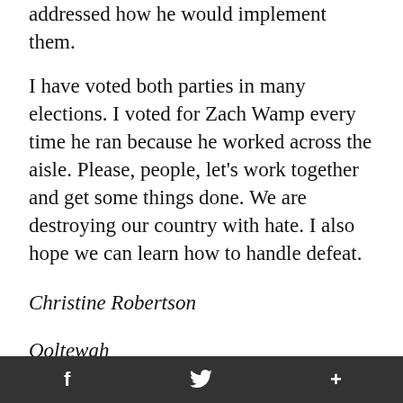addressed how he would implement them.
I have voted both parties in many elections. I voted for Zach Wamp every time he ran because he worked across the aisle. Please, people, let's work together and get some things done. We are destroying our country with hate. I also hope we can learn how to handle defeat.
Christine Robertson
Ooltewah
Tree contractors leave yard a mess
f  🐦  +